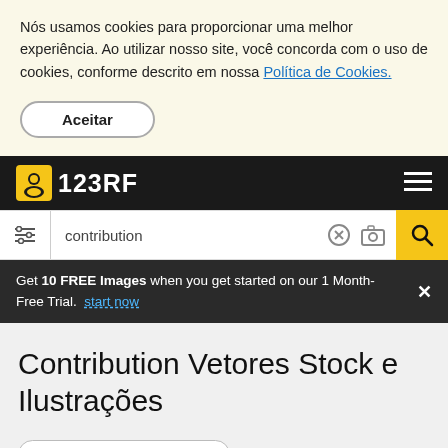Nós usamos cookies para proporcionar uma melhor experiência. Ao utilizar nosso site, você concorda com o uso de cookies, conforme descrito em nossa Política de Cookies.
Aceitar
123RF
contribution
Get 10 FREE Images when you get started on our 1 Month-Free Trial. start now
Contribution Vetores Stock e Ilustrações